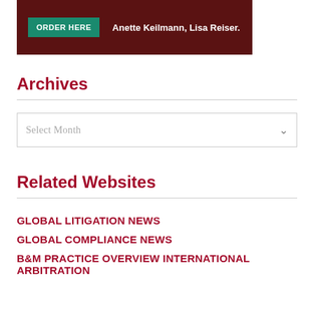[Figure (other): Banner advertisement with dark red background, green ORDER HERE button, and white text reading 'Anette Keilmann, Lisa Reiser.']
Archives
[Figure (other): Dropdown select box with placeholder text 'Select Month' and a chevron arrow on the right.]
Related Websites
GLOBAL LITIGATION NEWS
GLOBAL COMPLIANCE NEWS
B&M PRACTICE OVERVIEW INTERNATIONAL ARBITRATION